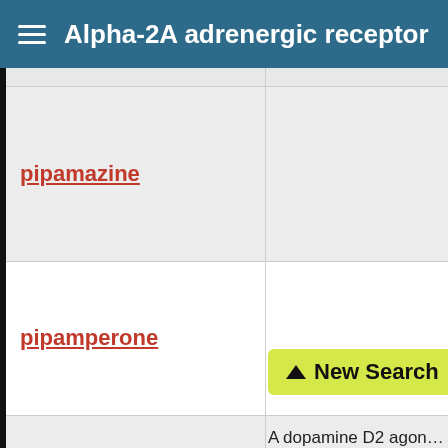Alpha-2A adrenergic receptor
| Drug |  |
| --- | --- |
| pipamazine |  |
| pipamperone | New Search |
|  | A dopamine D2 agon... treatment of parkins... particularly for all... |